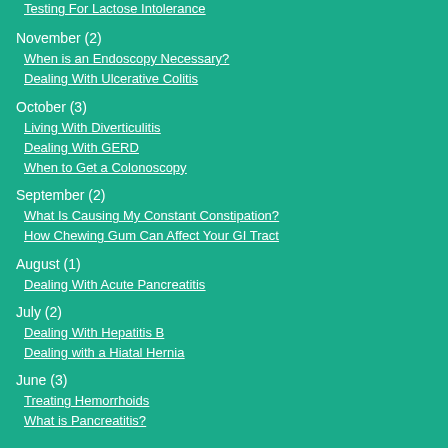Testing For Lactose Intolerance
November (2)
When is an Endoscopy Necessary?
Dealing With Ulcerative Colitis
October (3)
Living With Diverticulitis
Dealing With GERD
When to Get a Colonoscopy
September (2)
What Is Causing My Constant Constipation?
How Chewing Gum Can Affect Your GI Tract
August (1)
Dealing With Acute Pancreatitis
July (2)
Dealing With Hepatitis B
Dealing with a Hiatal Hernia
June (3)
Treating Hemorrhoids
What is Pancreatitis?